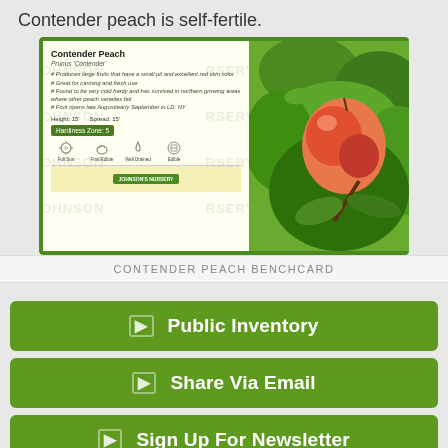Contender peach is self-fertile.
[Figure (photo): Contender Peach benchcard showing plant details, care icons, height/spread, hardiness zone, and a photo of a ripe peach on a tree branch]
CONTENDER PEACH BENCHCARD
Public Inventory
Share Via Email
Sign Up For Newsletter